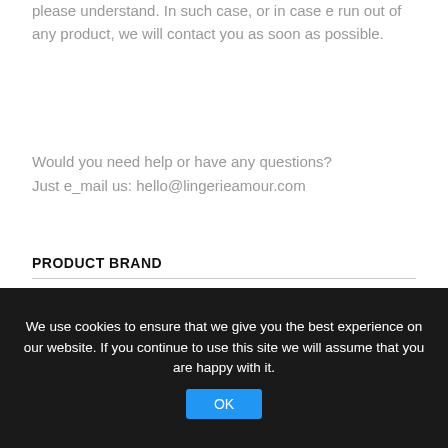please understand. In such case, or in case e run out of any product, we will contact you as soon as possible.
Would you need help or have any questions?
Just e_mail us: hello@lingerieamour.com
PRODUCT BRAND
[Figure (logo): Obsessive brand logo with red flame/wave icon above stylized lowercase text 'obsessive']
We use cookies to ensure that we give you the best experience on our website. If you continue to use this site we will assume that you are happy with it.